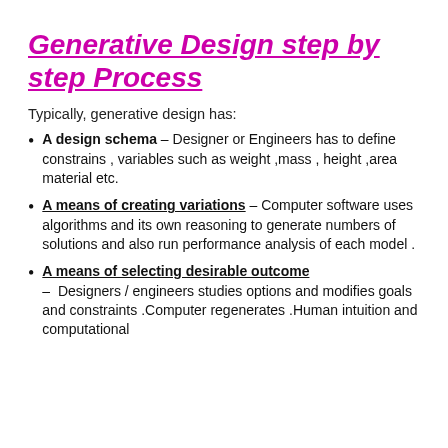Generative Design step by step Process
Typically, generative design has:
A design schema – Designer or Engineers has to define constrains , variables such as weight ,mass , height ,area material etc.
A means of creating variations – Computer software uses algorithms and its own reasoning to generate numbers of solutions and also run performance analysis of each model .
A means of selecting desirable outcome – Designers / engineers studies options and modifies goals and constraints .Computer regenerates .Human intuition and computational